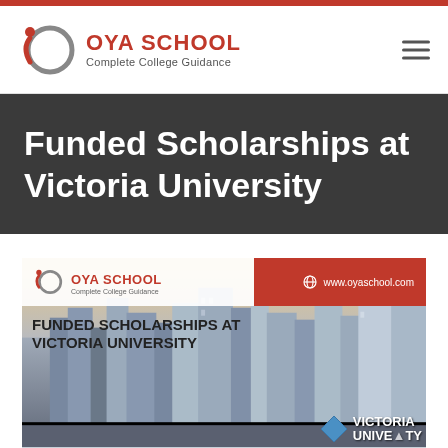OYA SCHOOL Complete College Guidance
Funded Scholarships at Victoria University
[Figure (screenshot): Promotional banner image for Funded Scholarships at Victoria University, showing OYA School logo, city skyline background, and Victoria University logo in the bottom right corner. URL www.oyaschool.com shown in top right red section.]